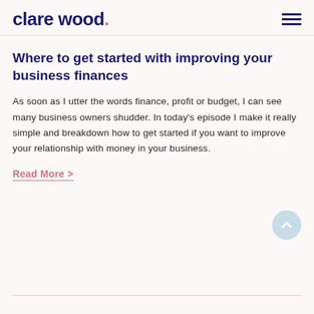clare wood.
Where to get started with improving your business finances
As soon as I utter the words finance, profit or budget, I can see many business owners shudder. In today's episode I make it really simple and breakdown how to get started if you want to improve your relationship with money in your business.
Read More >